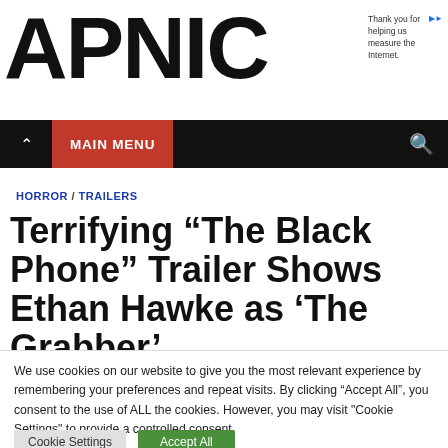APNIC
Thank you for helping us measure the Internet.
MAIN MENU
HORROR / TRAILERS
Terrifying “The Black Phone” Trailer Shows Ethan Hawke as ‘The Grabber’
We use cookies on our website to give you the most relevant experience by remembering your preferences and repeat visits. By clicking “Accept All”, you consent to the use of ALL the cookies. However, you may visit "Cookie Settings" to provide a controlled consent.
Cookie Settings
Accept All